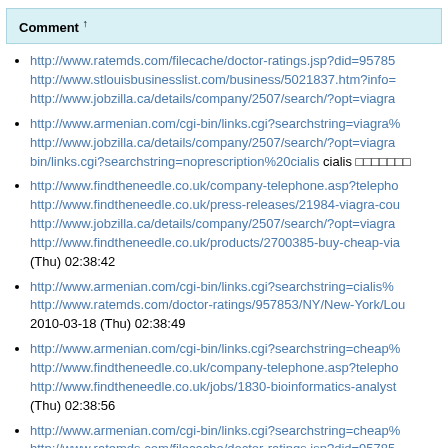Comment ↑
http://www.ratemds.com/filecache/doctor-ratings.jsp?did=95785 http://www.stlouisbusinesslist.com/business/5021837.htm?info= http://www.jobzilla.ca/details/company/2507/search/?opt=viagra
http://www.armenian.com/cgi-bin/links.cgi?searchstring=viagra% http://www.jobzilla.ca/details/company/2507/search/?opt=viagra bin/links.cgi?searchstring=noprescription%20cialis cialis □□□□□□□
http://www.findtheneedle.co.uk/company-telephone.asp?telepho http://www.findtheneedle.co.uk/press-releases/21984-viagra-cou http://www.jobzilla.ca/details/company/2507/search/?opt=viagra http://www.findtheneedle.co.uk/products/2700385-buy-cheap-via (Thu) 02:38:42
http://www.armenian.com/cgi-bin/links.cgi?searchstring=cialis% http://www.ratemds.com/doctor-ratings/957853/NY/New-York/Lou 2010-03-18 (Thu) 02:38:49
http://www.armenian.com/cgi-bin/links.cgi?searchstring=cheap% http://www.findtheneedle.co.uk/company-telephone.asp?telepho http://www.findtheneedle.co.uk/jobs/1830-bioinformatics-analyst (Thu) 02:38:56
http://www.armenian.com/cgi-bin/links.cgi?searchstring=cheap% http://www.ratemds.com/filecache/doctor-ratings.jsp?did=95785 18 (Thu) 02:39:03
http://www.ratemds.com/filecache/doctor-ratings.jsp?did=95785 http://www.armenian.com/cgi-bin/links.cgi?searchstring=cheap%